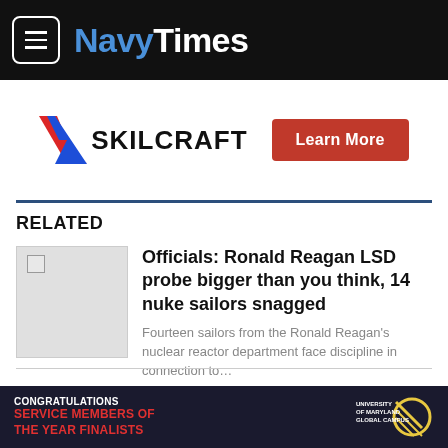Navy Times
[Figure (logo): SKILCRAFT logo with diagonal chevron stripes and Learn More red button advertisement]
RELATED
[Figure (photo): Thumbnail image placeholder for related article]
Officials: Ronald Reagan LSD probe bigger than you think, 14 nuke sailors snagged
Fourteen sailors from the Ronald Reagan's nuclear reactor department face discipline in connection to…
By Geoff Ziezulewicz
But war with Beijing isn't the only thing on his mind. Ten members of his crew had been busted with LSD the night before.
[Figure (logo): University of Maryland Global Campus congratulations advertisement banner]